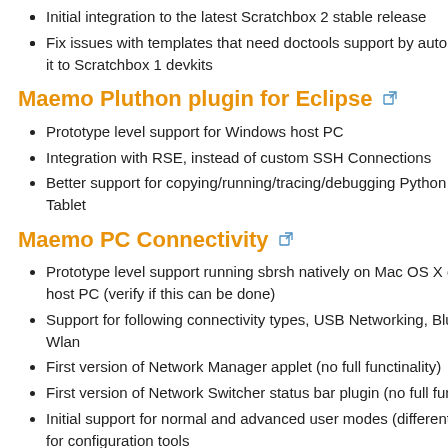Initial integration to the latest Scratchbox 2 stable release
Fix issues with templates that need doctools support by automatically it to Scratchbox 1 devkits
Maemo Pluthon plugin for Eclipse
Prototype level support for Windows host PC
Integration with RSE, instead of custom SSH Connections
Better support for copying/running/tracing/debugging Python appli Tablet
Maemo PC Connectivity
Prototype level support running sbrsh natively on Mac OS X or host PC (verify if this can be done)
Support for following connectivity types, USB Networking, Blue Wlan
First version of Network Manager applet (no full functinality)
First version of Network Switcher status bar plugin (no full functiona
Initial support for normal and advanced user modes (different UIs f for configuration tools
Initial tools and scripts for host PC installation and configuratio supported operating systems)